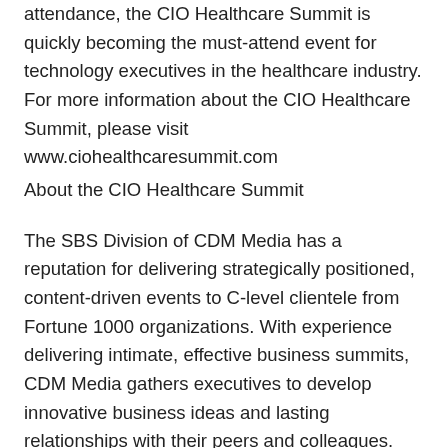attendance, the CIO Healthcare Summit is quickly becoming the must-attend event for technology executives in the healthcare industry. For more information about the CIO Healthcare Summit, please visit www.ciohealthcaresummit.com
About the CIO Healthcare Summit
The SBS Division of CDM Media has a reputation for delivering strategically positioned, content-driven events to C-level clientele from Fortune 1000 organizations. With experience delivering intimate, effective business summits, CDM Media gathers executives to develop innovative business ideas and lasting relationships with their peers and colleagues. The CIO Healthcare Summit will be hosted May 9-12, 2010 at the exclusive InterContinental Montelucia Resort in Scottsdale, AZ. The summit is designed to gather business leaders from innovative companies within North